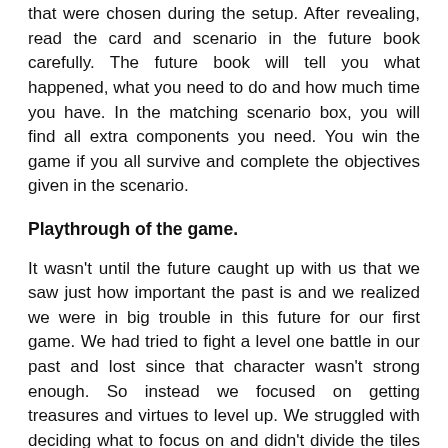that were chosen during the setup. After revealing, read the card and scenario in the future book carefully. The future book will tell you what happened, what you need to do and how much time you have. In the matching scenario box, you will find all extra components you need. You win the game if you all survive and complete the objectives given in the scenario.
Playthrough of the game.
It wasn't until the future caught up with us that we saw just how important the past is and we realized we were in big trouble in this future for our first game. We had tried to fight a level one battle in our past and lost since that character wasn't strong enough. So instead we focused on getting treasures and virtues to level up. We struggled with deciding what to focus on and didn't divide the tiles and virtues enough amongst the characters. This resulted in one overpowered character and two relative weak ones. We figured, it'll be fine, he can just take it's time and defeat all that needs defeating. But we lost hope when we saw we would lose tiles on every turn in the future and had to complete the objective before all the tiles were lost. You can imagine this ended in a huge disaster and we did not survive our future. In our second game we were